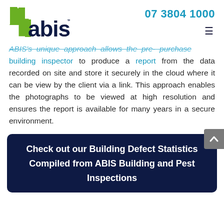[Figure (logo): 4abis logo - green numeral 4 with dark navy 'abis' text and TM mark]
07 3804 1000
ABIS's unique approach allows the pre-purchase building inspector to produce a report from the data recorded on site and store it securely in the cloud where it can be view by the client via a link. This approach enables the photographs to be viewed at high resolution and ensures the report is available for many years in a secure environment.
Check out our Building Defect Statistics Compiled from ABIS Building and Pest Inspections